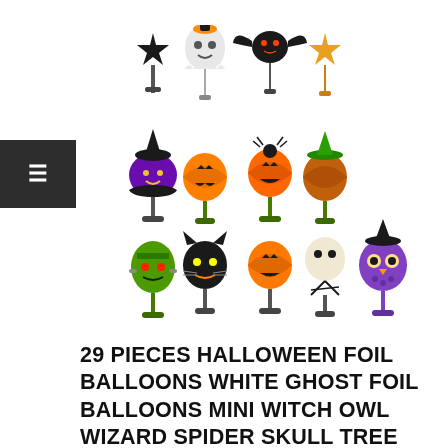[Figure (illustration): Collection of Halloween foil balloons on sticks including black star, white ghost, black bat, gold star, witch, pumpkin with face, pumpkin with spider, pumpkin with witch hat, green monster/Frankenstein, black cat, pumpkin, skeleton/scarecrow, and purple owl characters]
29 PIECES HALLOWEEN FOIL BALLOONS WHITE GHOST FOIL BALLOONS MINI WITCH OWL WIZARD SPIDER SKULL TREE STAR BALLOONS PUMPKIN BAT ALUMINUM FOIL BALLOONS FOR HALLOWEEN DECORATIONS PARTY SUPPLIES